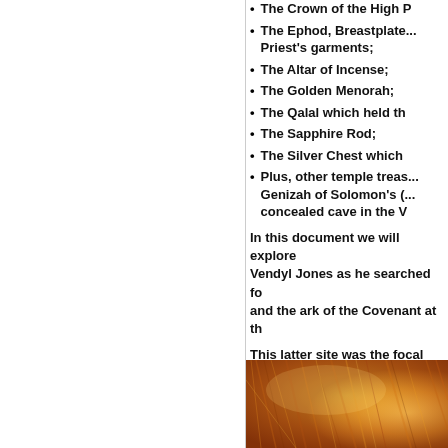The Crown of the High P...
The Ephod, Breastplate... Priest's garments;
The Altar of Incense;
The Golden Menorah;
The Qalal which held th...
The Sapphire Rod;
The Silver Chest which...
Plus, other temple treas... Genizah of Solomon's (... concealed cave in the V...
In this document we will explore... Vendyl Jones as he searched fo... and the ark of the Covenant at th...
This latter site was the focal poi... Temple Mount (Haram As-Sharif)... Holy of Holies in Zedekiah's (Zid... beneath the Temple Mount in Je... Quarries or Solomon's Stables w... went from the Gate between the...
[Figure (photo): Close-up photo of reddish-golden fur or hair with warm tones, partially visible at the bottom right of the page.]